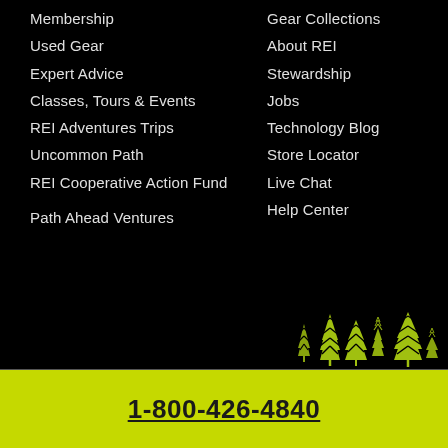Membership
Used Gear
Expert Advice
Classes, Tours & Events
REI Adventures Trips
Uncommon Path
REI Cooperative Action Fund
Path Ahead Ventures
Gear Collections
About REI
Stewardship
Jobs
Technology Blog
Store Locator
Live Chat
Help Center
[Figure (illustration): REI green tree/forest silhouette illustration in bottom right corner of black section]
1-800-426-4840